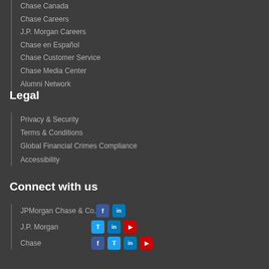Chase Canada
Chase Careers
J.P. Morgan Careers
Chase en Español
Chase Customer Service
Chase Media Center
Alumni Network
Legal
Privacy & Security
Terms & Conditions
Global Financial Crimes Compliance
Accessibility
Connect with us
JPMorgan Chase & Co. [Facebook] [LinkedIn]
J.P. Morgan [Twitter] [LinkedIn] [YouTube]
Chase [Facebook] [Twitter] [LinkedIn] [YouTube]